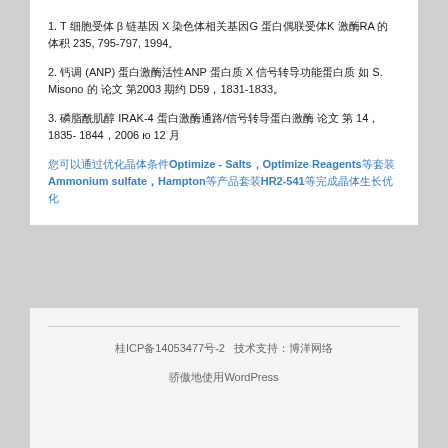1. T 细胞受体 β 链基因 X 染色体相关基因G 蛋白偶联受体K 激酶RA 的 体积 235, 795-797, 1994。
2. 钙调 (ANP) 蛋白激酶活性ANP 蛋白质 X 信号转导功能蛋白质 如 S. Misono 的 论文 第2003 期约 D59，1831-1833。
3. 磷脂酰肌醇 IRAK-4 蛋白激酶通路/信号转导蛋白激酶 论文 第 14，1835-1844，2006 ю 12 月
您可以通过优化晶体条件Optimize - Salts，Optimize Reagents等套装 Ammonium sulfate，Hampton等产品套装HR2-541等完成晶体生长优化
桂ICP备14053477号-2  技术支持：博洋网络
骄傲地使用WordPress